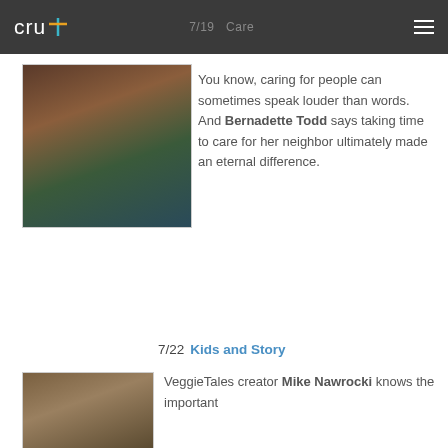cru  7/19  Care
[Figure (photo): Portrait photo of Bernadette Todd, a woman with dark hair wearing a colorful patterned blouse]
You know, caring for people can sometimes speak louder than words. And Bernadette Todd says taking time to care for her neighbor ultimately made an eternal difference.
7/22  Kids and Story
[Figure (photo): Portrait photo of Mike Nawrocki, a man with dark hair]
VeggieTales creator Mike Nawrocki knows the important